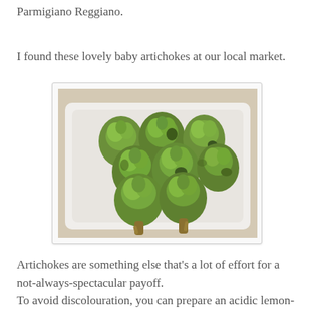Parmigiano Reggiano.
I found these lovely baby artichokes at our local market.
[Figure (photo): Baby artichokes in a white rectangular plastic tray, photographed from above. Several green artichokes clustered together.]
Artichokes are something else that's a lot of effort for a not-always-spectacular payoff.
To avoid discolouration, you can prepare an acidic lemon-